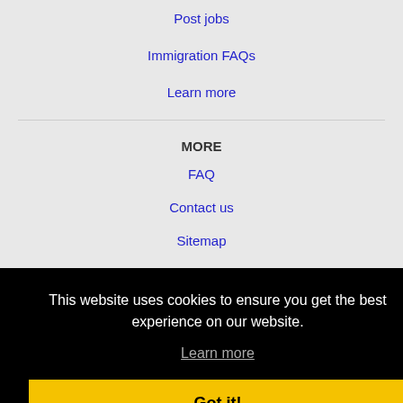Post jobs
Immigration FAQs
Learn more
MORE
FAQ
Contact us
Sitemap
Legal
[Figure (screenshot): Cookie consent overlay with black background showing 'This website uses cookies to ensure you get the best experience on our website.' with a Learn more link and a yellow Got it! button]
Odessa, FL Jobs
Egypt Lake-Leto, FL Jobs